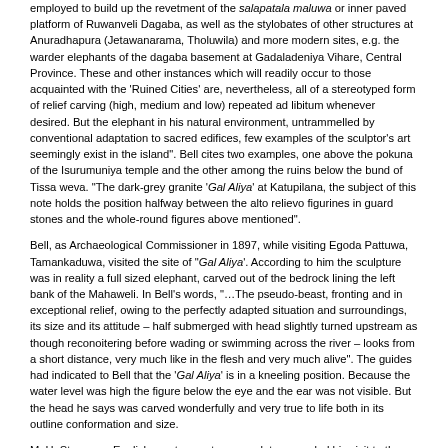employed to build up the revetment of the salapatala maluwa or inner paved platform of Ruwanveli Dagaba, as well as the stylobates of other structures at Anuradhapura (Jetawanarama, Tholuwila) and more modern sites, e.g. the warder elephants of the dagaba basement at Gadaladeniya Vihare, Central Province. These and other instances which will readily occur to those acquainted with the 'Ruined Cities' are, nevertheless, all of a stereotyped form of relief carving (high, medium and low) repeated ad libitum whenever desired. But the elephant in his natural environment, untrammelled by conventional adaptation to sacred edifices, few examples of the sculptor's art seemingly exist in the island". Bell cites two examples, one above the pokuna of the Isurumuniya temple and the other among the ruins below the bund of Tissa weva. "The dark-grey granite 'Gal Aliya' at Katupilana, the subject of this note holds the position halfway between the alto relievo figurines in guard stones and the whole-round figures above mentioned".
Bell, as Archaeological Commissioner in 1897, while visiting Egoda Pattuwa, Tamankaduwa, visited the site of "Gal Aliya'. According to him the sculpture was in reality a full sized elephant, carved out of the bedrock lining the left bank of the Mahaweli. In Bell's words, "…The pseudo-beast, fronting and in exceptional relief, owing to the perfectly adapted situation and surroundings, its size and its attitude – half submerged with head slightly turned upstream as though reconoitering before wading or swimming across the river – looks from a short distance, very much like in the flesh and very much alive". The guides had indicated to Bell that the 'Gal Aliya' is in a kneeling position. Because the water level was high the figure below the eye and the ear was not visible. But the head he says was carved wonderfully and very true to life both in its outline conformation and size.
M. H. Storey, an English sportsman, ten years later recorded his visit to the site in his book, "Hunting and Shooting in Ceylon". Both Bell and Storey record